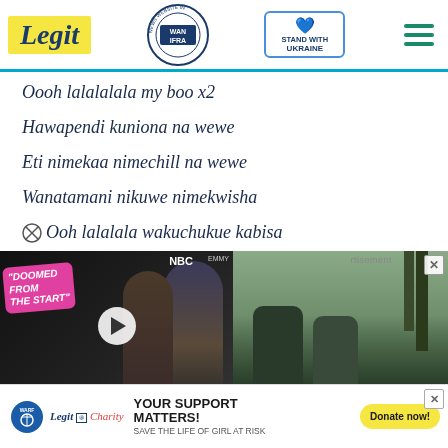Legit | WAN IFRA 2021 Best News Website in Africa | STAND WITH UKRAINE
Oooh lalalalala my boo x2
Hawapendi kuniona na wewe
Eti nimekaa nimechill na wewe
Wanatamani nikuwe nimekwisha
Ooh lalalala wakuchukue kabisa
[Figure (screenshot): Video advertisement with 'DOOMED FROM THE START' text, NBC logo, play button, and two people shown]
[Figure (photo): Soldiers in military gear with weapon visible, outdoor scene]
[Figure (screenshot): Legit Charity donation banner: YOUR SUPPORT MATTERS! SAVE THE LIFE OF GIRL AT RISK with Donate now! button]